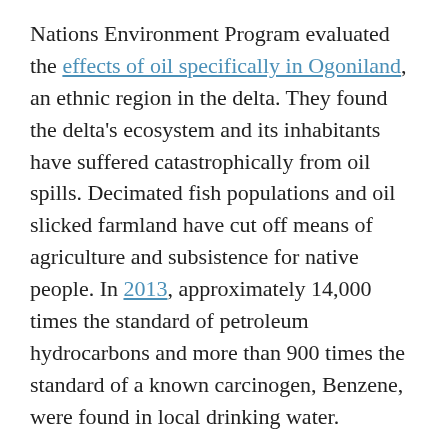Nations Environment Program evaluated the effects of oil specifically in Ogoniland, an ethnic region in the delta. They found the delta's ecosystem and its inhabitants have suffered catastrophically from oil spills. Decimated fish populations and oil slicked farmland have cut off means of agriculture and subsistence for native people. In 2013, approximately 14,000 times the standard of petroleum hydrocarbons and more than 900 times the standard of a known carcinogen, Benzene, were found in local drinking water.
Sustained exposure to oil and carcinogens in the drinking water and particulate matter in the air have been tied to reduced lifespans as short as 45 years. One study estimates oil spills that occur less than ten kilometers from pregnant mothers increase neonatal mortality by about 38.3 deaths